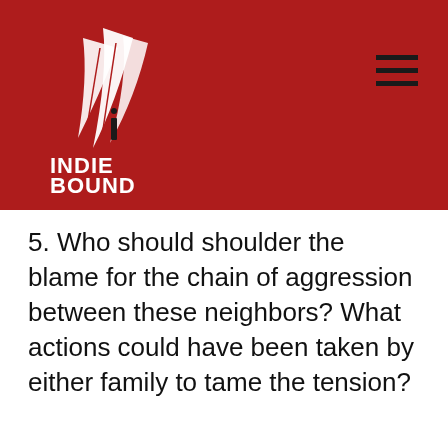[Figure (logo): IndieBound logo — white feather/hand graphic above text INDIE BOUND on red background]
5. Who should shoulder the blame for the chain of aggression between these neighbors? What actions could have been taken by either family to tame the tension?
IndieBound.Org Uses Cookies To Enhance Your Experience On Our Site, Analyze Site Usage, And Assist In Our Marketing Efforts. By Clicking Accept, You Agree To The Storing Of Cookies On Your Device. View Our Cookie Policy.
Give me more info
Accept all Cookies